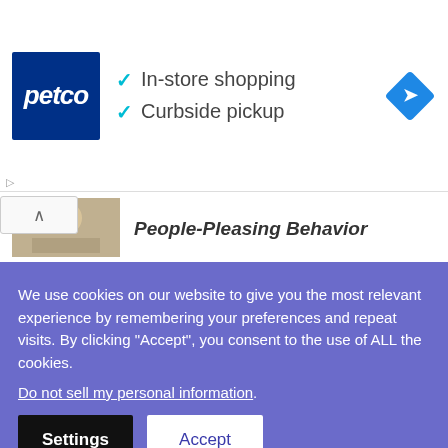[Figure (screenshot): Petco advertisement banner with logo, checkmarks for In-store shopping and Curbside pickup, and a blue navigation diamond icon]
People-Pleasing Behavior
ASTROLOGY / 2 weeks ago
Feng Shui Astrology For August 2022: What to Expect This Month?
We use cookies on our website to give you the most relevant experience by remembering your preferences and repeat visits. By clicking “Accept”, you consent to the use of ALL the cookies.
Do not sell my personal information.
Settings
Accept